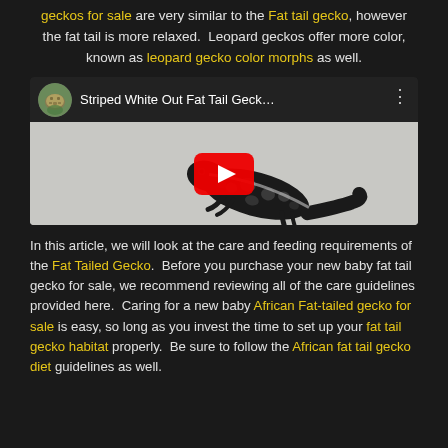geckos for sale are very similar to the Fat tail gecko, however the fat tail is more relaxed.  Leopard geckos offer more color, known as leopard gecko color morphs as well.
[Figure (screenshot): YouTube video embed showing 'Striped White Out Fat Tail Geck...' with a circular channel icon (tortoise/turtle photo), three-dot menu, and a gecko lizard in the video thumbnail over a gray background with a red YouTube play button.]
In this article, we will look at the care and feeding requirements of the Fat Tailed Gecko.  Before you purchase your new baby fat tail gecko for sale, we recommend reviewing all of the care guidelines provided here.  Caring for a new baby African Fat-tailed gecko for sale is easy, so long as you invest the time to set up your fat tail gecko habitat properly.  Be sure to follow the African fat tail gecko diet guidelines as well.